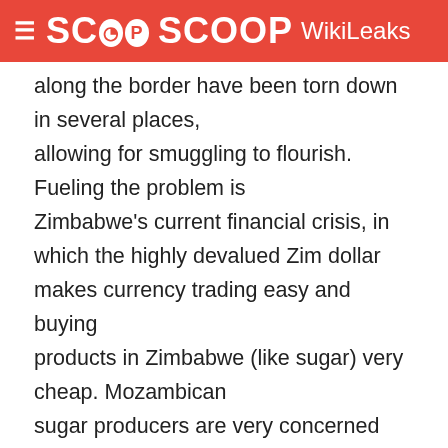SCOOP WikiLeaks
along the border have been torn down in several places, allowing for smuggling to flourish. Fueling the problem is Zimbabwe's current financial crisis, in which the highly devalued Zim dollar makes currency trading easy and buying products in Zimbabwe (like sugar) very cheap. Mozambican sugar producers are very concerned about this illegal activity, as $300 million has been spent to revitalize the sugar plantations and factories in Mozambique and cheap Zimbabwean sugar is flooding the domestic market. In